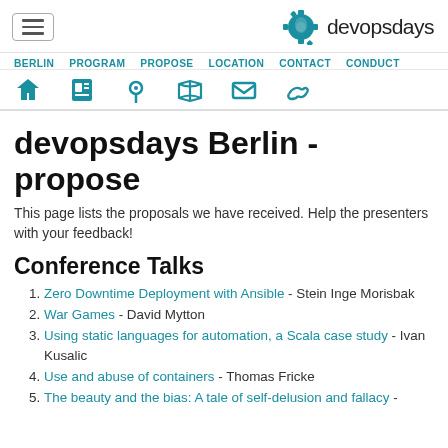devopsdays
BERLIN  PROGRAM  PROPOSE  LOCATION  CONTACT  CONDUCT
devopsdays Berlin - propose
This page lists the proposals we have received. Help the presenters with your feedback!
Conference Talks
Zero Downtime Deployment with Ansible - Stein Inge Morisbak
War Games - David Mytton
Using static languages for automation, a Scala case study - Ivan Kusalic
Use and abuse of containers - Thomas Fricke
The beauty and the bias: A tale of self-delusion and fallacy -